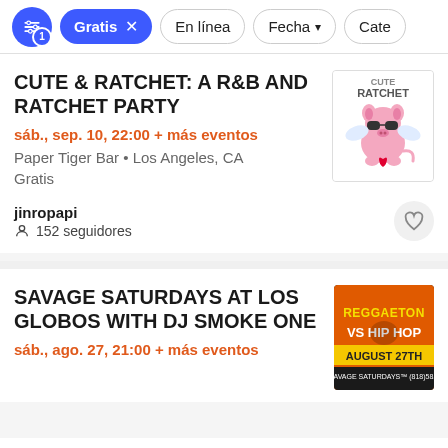Gratis | En línea | Fecha | Cate...
CUTE & RATCHET: A R&B AND RATCHET PARTY
sáb., sep. 10, 22:00 + más eventos
Paper Tiger Bar • Los Angeles, CA
Gratis
jinropapi
152 seguidores
SAVAGE SATURDAYS AT LOS GLOBOS WITH DJ SMOKE ONE
sáb., ago. 27, 21:00 + más eventos